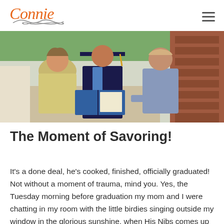Connie (logo)
[Figure (photo): A graduation photo showing three people — a woman in a yellow jacket on the left, a graduate in a dark cap and gown with a blue sash in the center holding an open diploma, and a man in a blue shirt on the right. They are standing outdoors on a paved area with green grass and a brick building visible in the background.]
The Moment of Savoring!
It's a done deal, he's cooked, finished, officially graduated! Not without a moment of trauma, mind you. Yes, the Tuesday morning before graduation my mom and I were chatting in my room with the little birdies singing outside my window in the glorious sunshine, when His Nibs comes up (after sleeping in) and says, "When